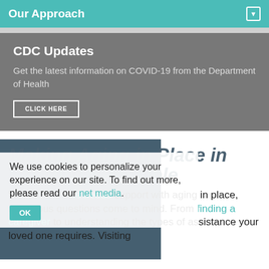Our Approach
CDC Updates
Get the latest information on COVID-19 from the Department of Health
CLICK HERE
Making Aging in Place in Savannah Possible
We use cookies to personalize your experience on our site. To find out more, please read our net media.
OK
When someone needs support with aging in place, numerous questions come to mind. From finding a caregiver to understanding the types of assistance your loved one requires. Visiting